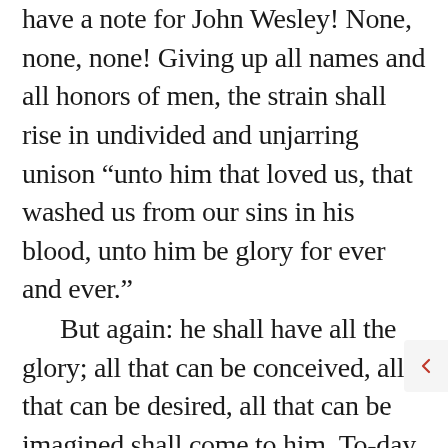have a note for John Wesley! None, none, none! Giving up all names and all honors of men, the strain shall rise in undivided and unjarring unison “unto him that loved us, that washed us from our sins in his blood, unto him be glory for ever and ever.”
But again: he shall have all the glory; all that can be conceived, all that can be desired, all that can be imagined shall come to him. To-day, you praise him, but not as you can wish; in heaven you shall praise him to the summit of your desire. To-day you see him magnified, but you see